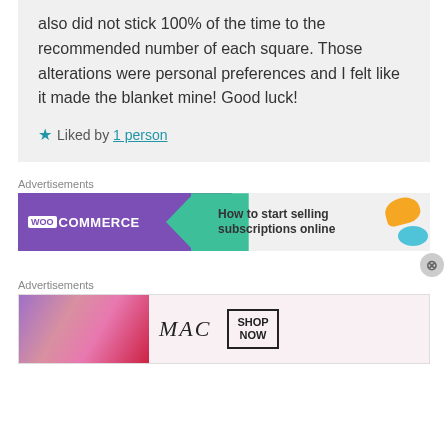also did not stick 100% of the time to the recommended number of each square. Those alterations were personal preferences and I felt like it made the blanket mine! Good luck!
★ Liked by 1 person
Advertisements
[Figure (other): WooCommerce advertisement banner: How to start selling subscriptions online]
Advertisements
[Figure (other): MAC cosmetics advertisement with lipsticks image and SHOP NOW button]